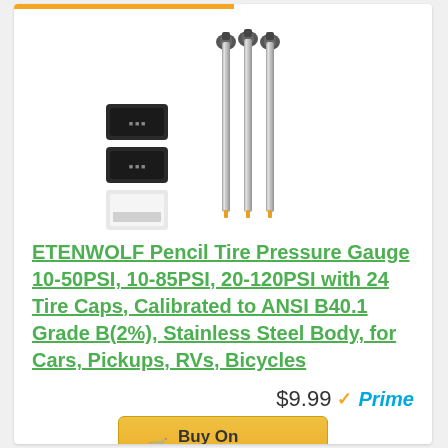[Figure (photo): Three stainless steel pencil tire pressure gauges with chrome finish standing upright, alongside two black accessories and one white/silver accessory]
ETENWOLF Pencil Tire Pressure Gauge 10-50PSI, 10-85PSI, 20-120PSI with 24 Tire Caps, Calibrated to ANSI B40.1 Grade B(2%), Stainless Steel Body, for Cars, Pickups, RVs, Bicycles
$9.99 ✓Prime
Buy On Amazon